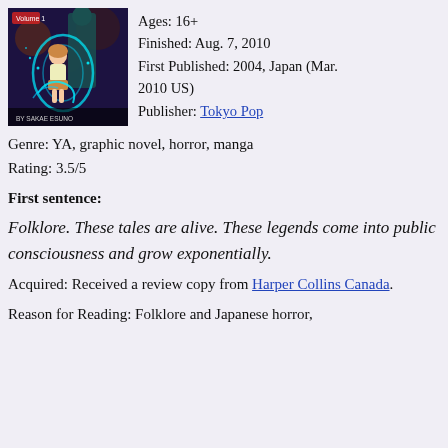[Figure (illustration): Book cover illustration showing an anime-style girl with glowing blue light and a tall figure behind her, with text 'BY SAKAE ESUNO' at bottom]
Ages: 16+
Finished: Aug. 7, 2010
First Published: 2004, Japan (Mar. 2010 US)
Publisher: Tokyo Pop
Genre: YA, graphic novel, horror, manga
Rating: 3.5/5
First sentence:
Folklore. These tales are alive. These legends come into public consciousness and grow exponentially.
Acquired: Received a review copy from Harper Collins Canada.
Reason for Reading: Folklore and Japanese horror,